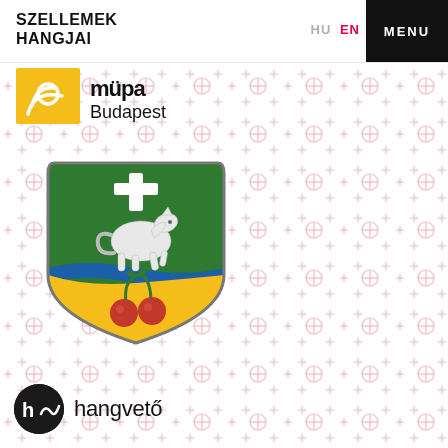SZELLEMEK HANGJAI
HU EN
MENU
[Figure (logo): Müpa Budapest logo with yellow sun graphic and text 'müpa Budapest']
[Figure (illustration): Coat of arms with green upper half showing white horse and cross, blue wavy stripe, golden lower half with two red cherries on green stems]
[Figure (logo): Hangvető logo: black circle with white 'h~' symbol and text 'hangvető']